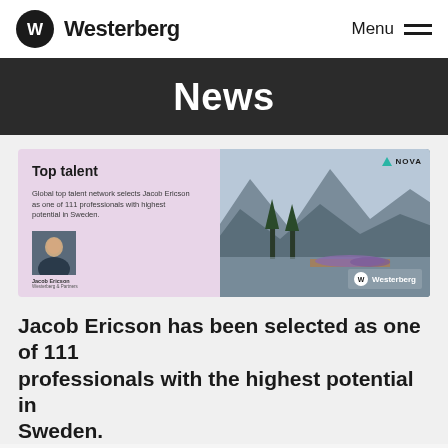Westerberg  Menu
News
[Figure (illustration): Card with two panels: left panel on pink/lavender background showing 'Top talent' heading with text about Jacob Ericson being one of 111 professionals with highest potential in Sweden, and a headshot photo; right panel showing a scenic mountain lake photo with NOVA logo top-right and Westerberg logo bottom-right.]
Jacob Ericson has been selected as one of 111 professionals with the highest potential in Sweden.